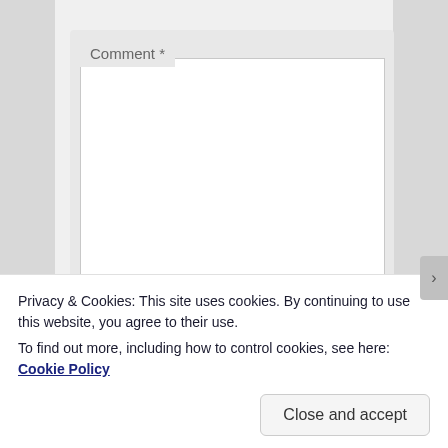[Figure (screenshot): Web form screenshot showing a Comment textarea field and a Name input field on a light gray background, partially covered by a cookie consent banner at the bottom.]
Comment *
Name
Privacy & Cookies: This site uses cookies. By continuing to use this website, you agree to their use.
To find out more, including how to control cookies, see here: Cookie Policy
Close and accept